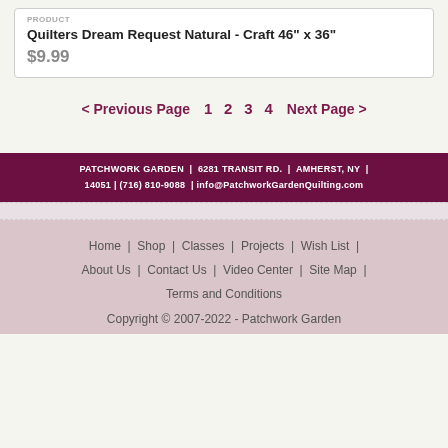PRODUCT
Quilters Dream Request Natural - Craft 46" x 36"
$9.99
< Previous Page   1  2  3  4   Next Page >
PATCHWORK GARDEN | 6281 TRANSIT RD. | AMHERST, NY | 14051 | (716) 810-9088 | info@PatchworkGardenQuilting.com
Home | Shop | Classes | Projects | Wish List | About Us | Contact Us | Video Center | Site Map | Terms and Conditions  Copyright © 2007-2022 - Patchwork Garden